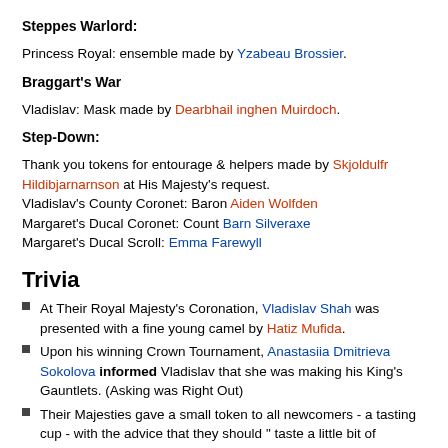Steppes Warlord:
Princess Royal: ensemble made by Yzabeau Brossier.
Braggart's War
Vladislav: Mask made by Dearbhail inghen Muirdoch.
Step-Down:
Thank you tokens for entourage & helpers made by Skjoldulfr Hildibjarnarnson at His Majesty's request.
Vladislav's County Coronet: Baron Aiden Wolfden
Margaret's Ducal Coronet: Count Barn Silveraxe
Margaret's Ducal Scroll: Emma Farewyll
Trivia
At Their Royal Majesty's Coronation, Vladislav Shah was presented with a fine young camel by Hatiz Mufida.
Upon his winning Crown Tournament, Anastasiia Dmitrieva Sokolova informed Vladislav that she was making his King's Gauntlets. (Asking was Right Out)
Their Majesties gave a small token to all newcomers - a tasting cup - with the advice that they should " taste a little bit of everything before